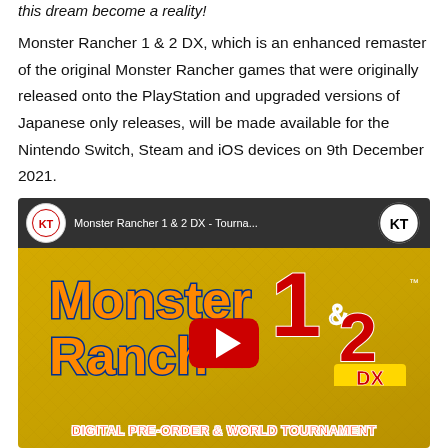this dream become a reality!
Monster Rancher 1 & 2 DX, which is an enhanced remaster of the original Monster Rancher games that were originally released onto the PlayStation and upgraded versions of Japanese only releases, will be made available for the Nintendo Switch, Steam and iOS devices on 9th December 2021.
[Figure (screenshot): YouTube video thumbnail for Monster Rancher 1 & 2 DX - Tourna... showing the game logo with a play button overlay and 'DIGITAL PRE-ORDER & WORLD TOURNAMENT' text at the bottom. KT (Koei Tecmo) branding shown in top corners.]